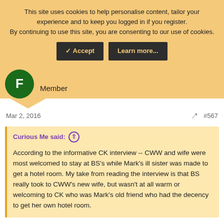This site uses cookies to help personalise content, tailor your experience and to keep you logged in if you register. By continuing to use this site, you are consenting to our use of cookies.
Member
Mar 2, 2016  #567
Curious Me said: According to the informative CK interview -- CWW and wife were most welcomed to stay at BS's while Mark's ill sister was made to get a hotel room. My take from reading the interview is that BS really took to CWW's new wife, but wasn't at all warm or welcoming to CK who was Mark's old friend who had the decency to get her own hotel room.